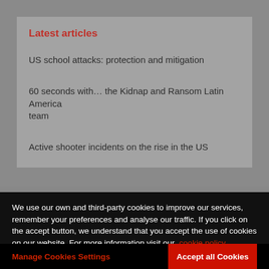Latest articles
US school attacks: protection and mitigation
60 seconds with… the Kidnap and Ransom Latin America team
Active shooter incidents on the rise in the US
We use our own and third-party cookies to improve our services, remember your preferences and analyse our traffic. If you click on the accept button, we understand that you accept the use of cookies on our website. For more information visit our cookie policy
Manage Cookies Settings
Accept all Cookies